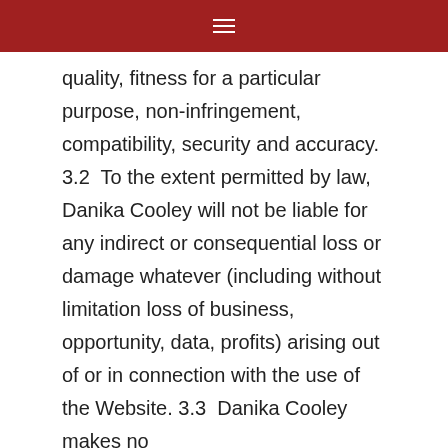≡
quality, fitness for a particular purpose, non-infringement, compatibility, security and accuracy. 3.2  To the extent permitted by law, Danika Cooley will not be liable for any indirect or consequential loss or damage whatever (including without limitation loss of business, opportunity, data, profits) arising out of or in connection with the use of the Website. 3.3  Danika Cooley makes no